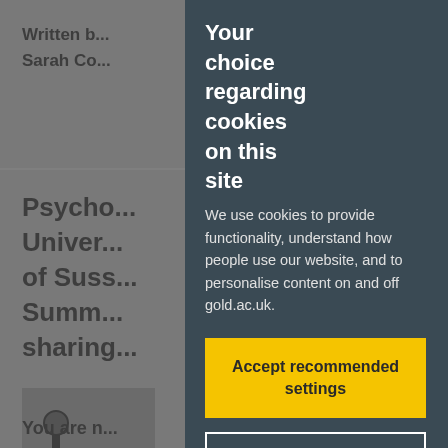Written by
Sarah Co...
Psycho...
Univer...
of Suss...
Summ... 7 July,
sharing... esia.
[Figure (photo): Two partially visible photos of people, one on left with dark background showing a microphone, one on right with dark background showing wires/cords]
You are n... oldsmiths
Your choice regarding cookies on this site
We use cookies to provide functionality, understand how people use our website, and to personalise content on and off gold.ac.uk.
Accept recommended settings
Review cookie settings